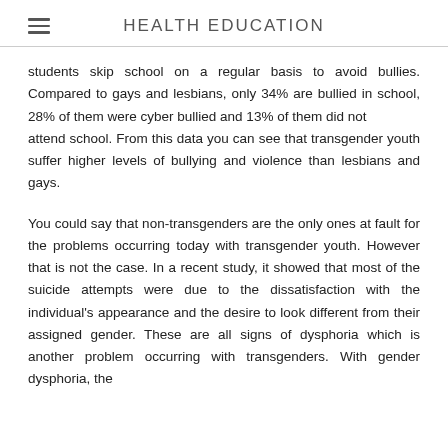HEALTH EDUCATION
students skip school on a regular basis to avoid bullies. Compared to gays and lesbians, only 34% are bullied in school, 28% of them were cyber bullied and 13% of them did not attend school. From this data you can see that transgender youth suffer higher levels of bullying and violence than lesbians and gays.
You could say that non-transgenders are the only ones at fault for the problems occurring today with transgender youth. However that is not the case. In a recent study, it showed that most of the suicide attempts were due to the dissatisfaction with the individual's appearance and the desire to look different from their assigned gender. These are all signs of dysphoria which is another problem occurring with transgenders. With gender dysphoria, the